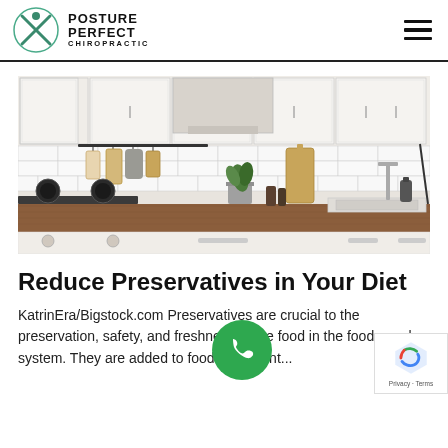POSTURE PERFECT CHIROPRACTIC
[Figure (photo): A modern kitchen interior with white subway tile backsplash, white cabinets, wooden countertop, hanging cutting boards and utensils, a small potted plant, and a stainless steel sink area.]
Reduce Preservatives in Your Diet
KatrinEra/Bigstock.com Preservatives are crucial to the preservation, safety, and freshness of the food in the food supply system. They are added to food to prevent...